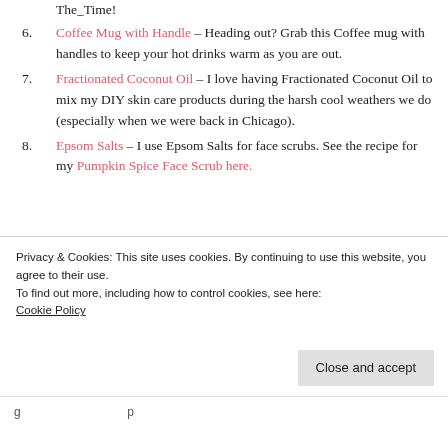The_Time!
6. Coffee Mug with Handle – Heading out? Grab this Coffee mug with handles to keep your hot drinks warm as you are out.
7. Fractionated Coconut Oil – I love having Fractionated Coconut Oil to mix my DIY skin care products during the harsh cool weathers we do (especially when we were back in Chicago).
8. Epsom Salts – I use Epsom Salts for face scrubs. See the recipe for my Pumpkin Spice Face Scrub here.
Privacy & Cookies: This site uses cookies. By continuing to use this website, you agree to their use. To find out more, including how to control cookies, see here: Cookie Policy
Close and accept